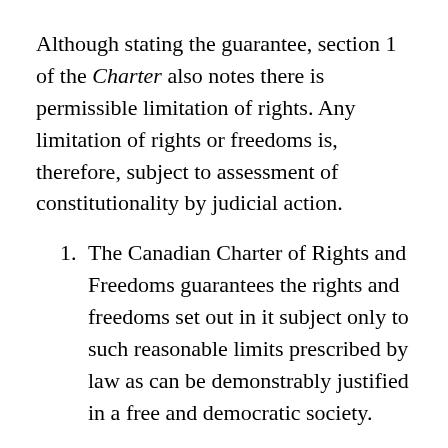Although stating the guarantee, section 1 of the Charter also notes there is permissible limitation of rights. Any limitation of rights or freedoms is, therefore, subject to assessment of constitutionality by judicial action.
The Canadian Charter of Rights and Freedoms guarantees the rights and freedoms set out in it subject only to such reasonable limits prescribed by law as can be demonstrably justified in a free and democratic society.
Crucial to the limitation of rights under the Charter is that the limitation must be the result of a enactment that can be...